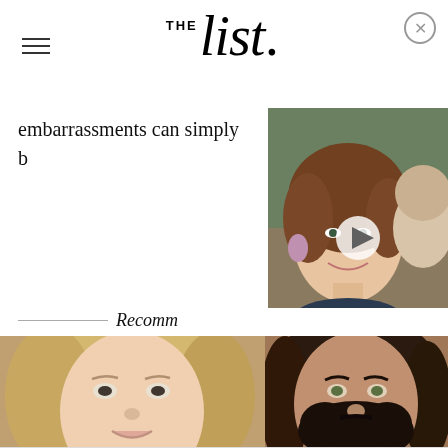THE list.
embarrassments can simply b
[Figure (photo): Video thumbnail showing a woman smiling with earrings, with a play button overlay]
Recomm
[Figure (photo): Close-up photo of a young woman's face with blonde hair]
[Figure (photo): Close-up photo of a bearded man with long dark hair]